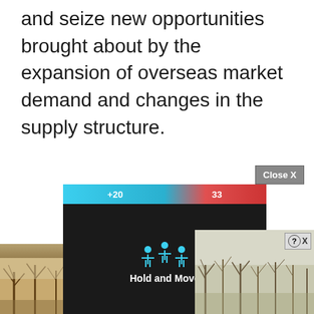and seize new opportunities brought about by the expansion of overseas market demand and changes in the supply structure.
[Figure (screenshot): Advertisement overlay at bottom of page showing a 'Hold and Move' app/game advertisement with dark background, stick figures, and a nature photo background. Includes a 'Close X' button and a small quiz/help button.]